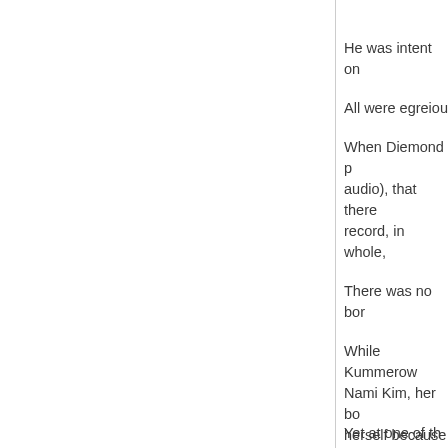He was intent on
All were egregious
When Diemond p audio), that there record, in whole,
There was no bor
While Kummerow Nami Kim, her bo herself because c someone(s) want
Nami Kim, Jim Wh undisclosed Brad
However, by Marc
Cleary had been f
Yet at one of the